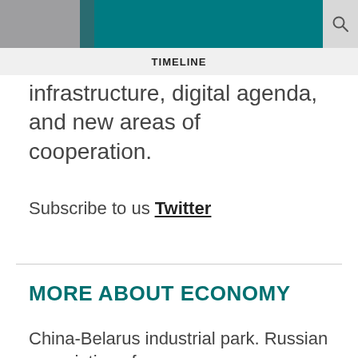TIMELINE
infrastructure, digital agenda, and new areas of cooperation.
Subscribe to us Twitter
MORE ABOUT ECONOMY
China-Belarus industrial park. Russian association of